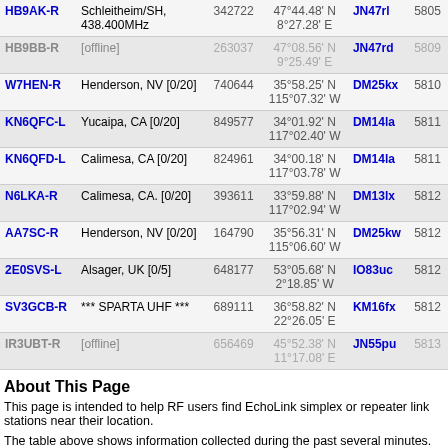| Callsign | Location | Node | Coordinates | Grid | Freq |
| --- | --- | --- | --- | --- | --- |
| HB9AK-R | Schleitheim/SH, 438.400MHz | 342722 | 47°44.48' N 8°27.28' E | JN47rl | 5805 |
| HB9BB-R | [offline] | 263037 | 47°08.56' N 9°25.49' E | JN47rd | 5809 |
| W7HEN-R | Henderson, NV [0/20] | 740644 | 35°58.25' N 115°07.32' W | DM25kx | 5810 |
| KN6QFC-L | Yucaipa, CA [0/20] | 849577 | 34°01.92' N 117°02.40' W | DM14la | 5811 |
| KN6QFD-L | Calimesa, CA [0/20] | 824961 | 34°00.18' N 117°03.78' W | DM14la | 5811 |
| N6LKA-R | Calimesa, CA. [0/20] | 393611 | 33°59.88' N 117°02.94' W | DM13lx | 5812 |
| AA7SC-R | Henderson, NV [0/20] | 164790 | 35°56.31' N 115°06.60' W | DM25kw | 5812 |
| 2E0SVS-L | Alsager, UK [0/5] | 648177 | 53°05.68' N 2°18.85' W | IO83uc | 5812 |
| SV3GCB-R | *** SPARTA UHF *** | 689111 | 36°58.82' N 22°26.05' E | KM16fx | 5812 |
| IR3UBT-R | [offline] | 656469 | 45°52.38' N 11°17.08' E | JN55pu | 5813 |
About This Page
This page is intended to help RF users find EchoLink simplex or repeater link stations near their location.
The table above shows information collected during the past several minutes. The only stations shown are those which have entered location information on their node, viewed here.